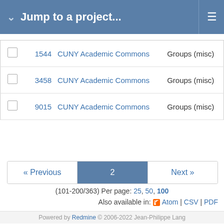Jump to a project...
|  | ID | Project | Category |  |
| --- | --- | --- | --- | --- |
|  | 1544 | CUNY Academic Commons | Groups (misc) |  |
|  | 3458 | CUNY Academic Commons | Groups (misc) |  |
|  | 9015 | CUNY Academic Commons | Groups (misc) |  |
« Previous  2  Next »
(101-200/363) Per page: 25, 50, 100
Also available in: Atom | CSV | PDF
Powered by Redmine © 2006-2022 Jean-Philippe Lang
Password security has been upgraded recently, therefore you may be prompted to generate a new password that fits current password requirements.